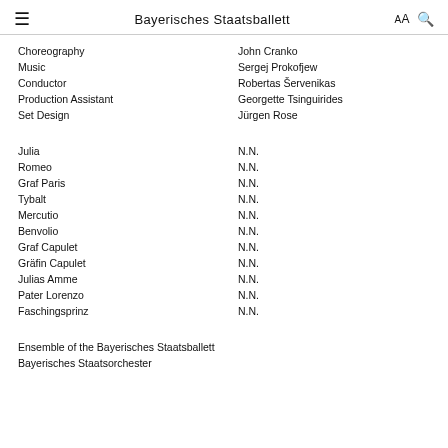Bayerisches Staatsballett
| Choreography | John Cranko |
| Music | Sergej Prokofjew |
| Conductor | Robertas Šervenikas |
| Production Assistant | Georgette Tsinguirides |
| Set Design | Jürgen Rose |
| Julia | N.N. |
| Romeo | N.N. |
| Graf Paris | N.N. |
| Tybalt | N.N. |
| Mercutio | N.N. |
| Benvolio | N.N. |
| Graf Capulet | N.N. |
| Gräfin Capulet | N.N. |
| Julias Amme | N.N. |
| Pater Lorenzo | N.N. |
| Faschingsprinz | N.N. |
Ensemble of the Bayerisches Staatsballett
Bayerisches Staatsorchester